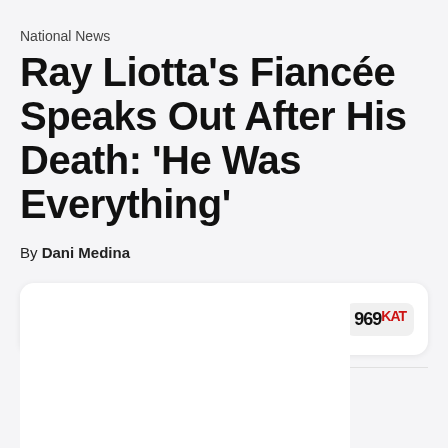National News
Ray Liotta's Fiancée Speaks Out After His Death: 'He Was Everything'
By Dani Medina
[Figure (screenshot): Audio player widget showing: Luke Bryan • 96.9 The Kat - Charlotte's #1 for New Cou... | One Margarita | 969 KAT logo]
[Figure (screenshot): White content area below the player, partially visible]